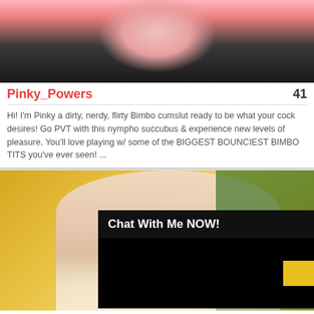[Figure (photo): Partial photo of Pinky_Powers profile, dark background with flesh tones visible at top]
Pinky_Powers    41
Hi! I'm Pinky a dirty, nerdy, flirty Bimbo cumslut ready to be what your cock desires! Go PVT with this nympho succubus & experience new levels of pleasure. You'll love playing w/ some of the BIGGEST BOUNCIEST BIMBO TITS you've ever seen! ...
[Figure (photo): Photo of EilleenMadsen, a blonde woman with glasses wearing a pink blazer, posing with plants in the background]
EilleenMadsen
I like to be admired ... life and luxury. ...
[Figure (screenshot): Chat overlay popup: 'Chat With Me NOW!' with minimize button, black body area with yellow button and mute icon]